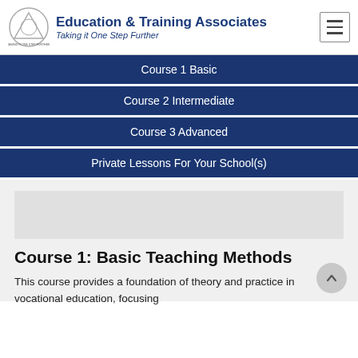Education & Training Associates — Taking it One Step Further
Course 1 Basic
Course 2 Intermediate
Course 3 Advanced
Private Lessons For Your School(s)
Course 1:  Basic Teaching Methods
This course provides a foundation of theory and practice in vocational education, focusing